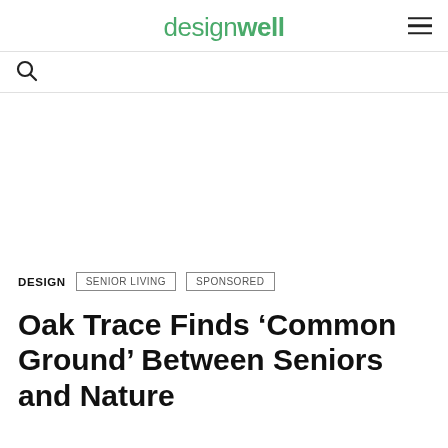designwell
DESIGN   SENIOR LIVING   SPONSORED
Oak Trace Finds ‘Common Ground’ Between Seniors and Nature